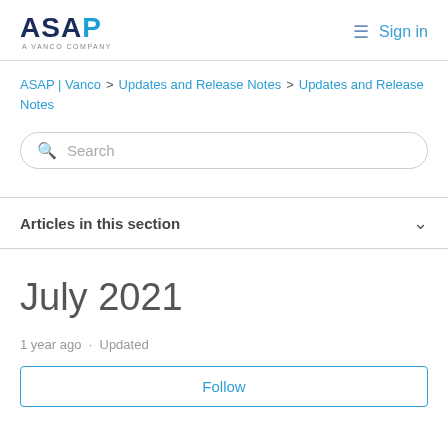ASAP A VANCO COMPANY   Sign in
ASAP | Vanco > Updates and Release Notes > Updates and Release Notes
Search
Articles in this section
July 2021
1 year ago · Updated
Follow